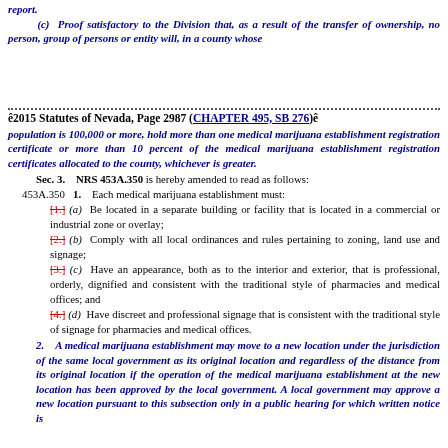report.
(c) Proof satisfactory to the Division that, as a result of the transfer of ownership, no person, group of persons or entity will, in a county whose
ê2015 Statutes of Nevada, Page 2987 (CHAPTER 495, SB 276)ê
population is 100,000 or more, hold more than one medical marijuana establishment registration certificate or more than 10 percent of the medical marijuana establishment registration certificates allocated to the county, whichever is greater.
Sec. 3. NRS 453A.350 is hereby amended to read as follows:
453A.350 1. Each medical marijuana establishment must:
[1.] (a) Be located in a separate building or facility that is located in a commercial or industrial zone or overlay;
[2.] (b) Comply with all local ordinances and rules pertaining to zoning, land use and signage;
[3.] (c) Have an appearance, both as to the interior and exterior, that is professional, orderly, dignified and consistent with the traditional style of pharmacies and medical offices; and
[4.] (d) Have discreet and professional signage that is consistent with the traditional style of signage for pharmacies and medical offices.
2. A medical marijuana establishment may move to a new location under the jurisdiction of the same local government as its original location and regardless of the distance from its original location if the operation of the medical marijuana establishment at the new location has been approved by the local government. A local government may approve a new location pursuant to this subsection only in a public hearing for which written notice is